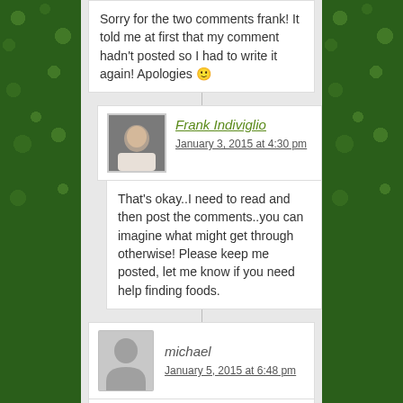Sorry for the two comments frank! It told me at first that my comment hadn't posted so I had to write it again! Apologies 🙂
Frank Indiviglio
January 3, 2015 at 4:30 pm
That's okay..I need to read and then post the comments..you can imagine what might get through otherwise! Please keep me posted, let me know if you need help finding foods.
michael
January 5, 2015 at 6:48 pm
Hello sir, just had a quick question. I have a baby stinkpot musk and was just wondering what a good feeding schedule